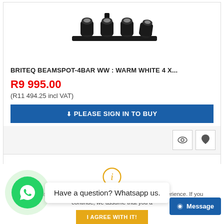[Figure (photo): Black Briteq BEAMSPOT-4BAR WW spotlight bar product image with 4 individual adjustable beam heads on a rail, viewed from slightly above]
BRITEQ BEAMSPOT-4BAR WW : WARM WHITE 4 X...
R9 995.00
(R11 494.25 incl VAT)
PLEASE SIGN IN TO BUY
[Figure (infographic): Cookie consent overlay with orange info icon, cookie notice text, I AGREE WITH IT button, WhatsApp chat bubble saying 'Have a question? Whatsapp us.', WhatsApp green circle icon, and blue Message button]